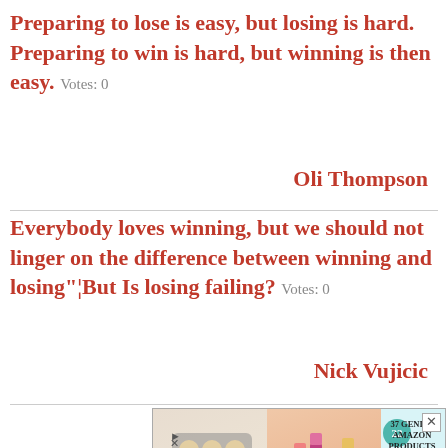Preparing to lose is easy, but losing is hard. Preparing to win is hard, but winning is then easy. Votes: 0
Oli Thompson
Everybody loves winning, but we should not linger on the difference between winning and losing"¦But Is losing failing? Votes: 0
Nick Vujicic
[Figure (screenshot): Advertisement banner showing Amazon products promotion '37 Genius Amazon Products That Can Be Used By Anyone' with a teal badge showing '22', overlaid by 'Visit Premium Outlets - Leesburg Premium Outlets' ad with logo and close button]
Wher... friend... ve any fr...